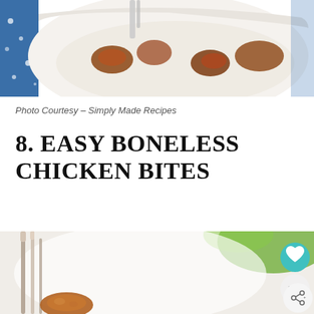[Figure (photo): Top portion of a photo showing chicken pieces in a white decorative bowl on a blue patterned surface]
Photo Courtesy – Simply Made Recipes
8. EASY BONELESS CHICKEN BITES
[Figure (photo): Bottom photo showing chicken bites being picked up with metal tongs, with blurred green and white background. Heart/like button showing 6.2K and a share button are overlaid on the right side.]